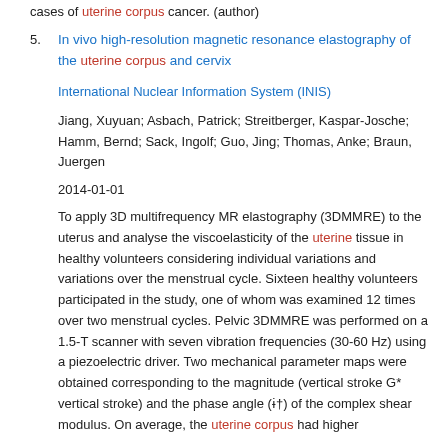cases of uterine corpus cancer. (author)
5. In vivo high-resolution magnetic resonance elastography of the uterine corpus and cervix
International Nuclear Information System (INIS)
Jiang, Xuyuan; Asbach, Patrick; Streitberger, Kaspar-Josche; Hamm, Bernd; Sack, Ingolf; Guo, Jing; Thomas, Anke; Braun, Juergen
2014-01-01
To apply 3D multifrequency MR elastography (3DMMRE) to the uterus and analyse the viscoelasticity of the uterine tissue in healthy volunteers considering individual variations and variations over the menstrual cycle. Sixteen healthy volunteers participated in the study, one of whom was examined 12 times over two menstrual cycles. Pelvic 3DMMRE was performed on a 1.5-T scanner with seven vibration frequencies (30-60 Hz) using a piezoelectric driver. Two mechanical parameter maps were obtained corresponding to the magnitude (vertical stroke G* vertical stroke) and the phase angle (ɨ†) of the complex shear modulus. On average, the uterine corpus had higher